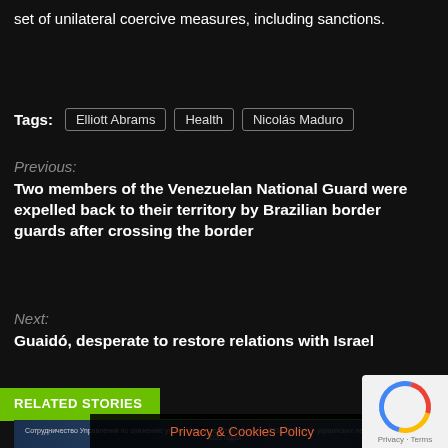set of unilateral coercive measures, including sanctions.
Tags: Elliott Abrams  Health  Nicolás Maduro
Previous:
Two members of the Venezuelan National Guard were expelled back to their territory by Brazilian border guards after crossing the border
Next:
Guaidó, desperate to restore relations with Israel
RELATED STORIES
[Figure (screenshot): Screenshot of a document in Russian language about cooperation between the US Department of Defense Threat Reduction Agency (DTRA) and Ukrainian laboratories 2015-2020, with map imagery.]